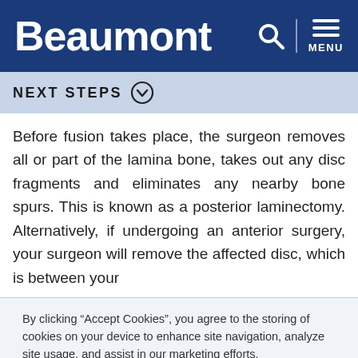Beaumont
NEXT STEPS
Before fusion takes place, the surgeon removes all or part of the lamina bone, takes out any disc fragments and eliminates any nearby bone spurs. This is known as a posterior laminectomy. Alternatively, if undergoing an anterior surgery, your surgeon will remove the affected disc, which is between your
By clicking “Accept Cookies”, you agree to the storing of cookies on your device to enhance site navigation, analyze site usage, and assist in our marketing efforts.